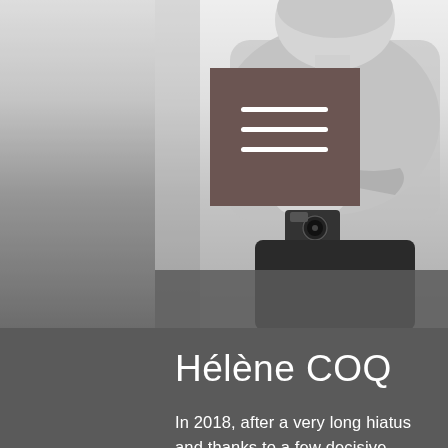[Figure (photo): Black and white photo of a person sitting with arms crossed, holding a camera, wearing a knit sweater. A dark brown/taupe hamburger menu icon box is overlaid on the left side of the image.]
Hélène COQ
In 2018, after a very long hiatus and thanks to a few decisive encounters, I returned to the artistic practices of my youth: drawing, painting, then photography. Thirty years of architectural projects had shaped my creativity: a complex exercise in which part of the talent consists in preserving the beautiful original idea until its concrétization, all along a path...